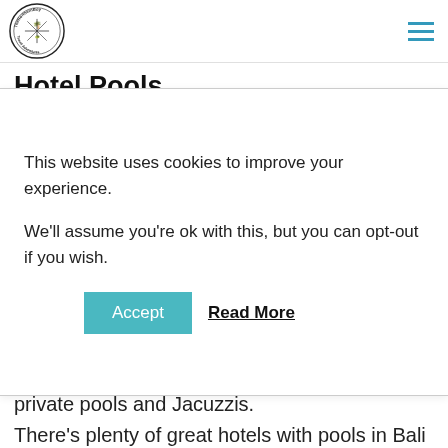TheNorthernBoy Travel Adventures — navigation logo and hamburger menu
Hotel Pools
This website uses cookies to improve your experience.

We'll assume you're ok with this, but you can opt-out if you wish.
Some of the rooms are also outfitted with private pools and Jacuzzis.
There's plenty of great hotels with pools in Bali